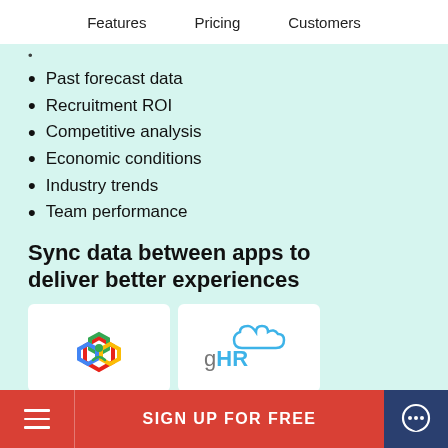Features   Pricing   Customers
[partial/truncated line above list]
Past forecast data
Recruitment ROI
Competitive analysis
Economic conditions
Industry trends
Team performance
Sync data between apps to deliver better experiences
[Figure (logo): Hexagonal colorful icon logo (green/red/blue/yellow honeycomb with person figure)]
[Figure (logo): gHR cloud logo in blue/teal with stylized cloud shape and text 'gHR']
SIGN UP FOR FREE